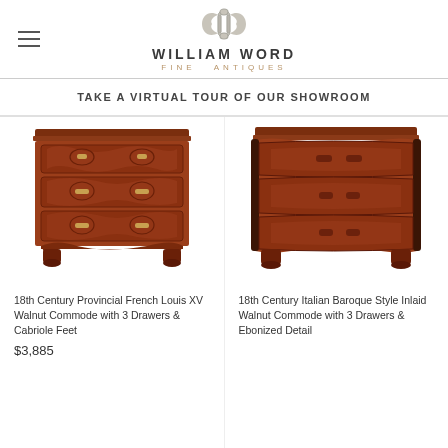[Figure (logo): William Word Fine Antiques logo with decorative scroll symbol above text]
TAKE A VIRTUAL TOUR OF OUR SHOWROOM
[Figure (photo): 18th Century Provincial French Louis XV Walnut Commode with ornate carved drawer fronts, brass handles, and cabriole feet]
18th Century Provincial French Louis XV Walnut Commode with 3 Drawers & Cabriole Feet
$3,885
[Figure (photo): 18th Century Italian Baroque Style Inlaid Walnut Commode with serpentine front, 3 drawers, ebonized column details]
18th Century Italian Baroque Style Inlaid Walnut Commode with 3 Drawers & Ebonized Detail